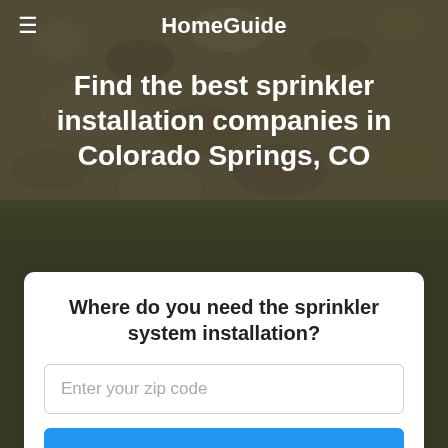HomeGuide
Find the best sprinkler installation companies in Colorado Springs, CO
[Figure (photo): Background photo of a rocky landscape with grass, overlaid with a dark semi-transparent filter]
Where do you need the sprinkler system installation?
Enter your zip code
Go